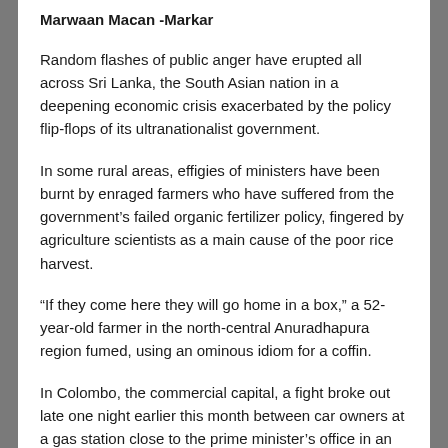Marwaan Macan -Markar
Random flashes of public anger have erupted all across Sri Lanka, the South Asian nation in a deepening economic crisis exacerbated by the policy flip-flops of its ultranationalist government.
In some rural areas, effigies of ministers have been burnt by enraged farmers who have suffered from the government’s failed organic fertilizer policy, fingered by agriculture scientists as a main cause of the poor rice harvest.
“If they come here they will go home in a box,” a 52-year-old farmer in the north-central Anuradhapura region fumed, using an ominous idiom for a coffin.
In Colombo, the commercial capital, a fight broke out late one night earlier this month between car owners at a gas station close to the prime minister’s office in an affluent, tree-lined neighborhood. The fisticuffs occurred after sports